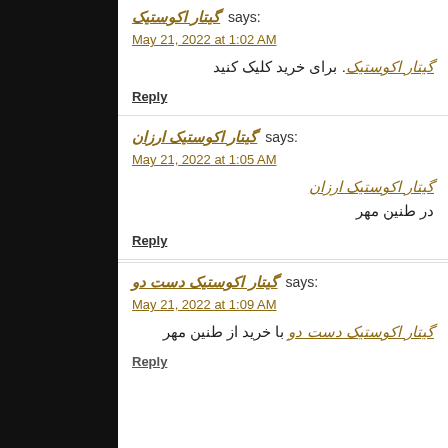گیتار اکوستیک says:
May 21, 2022 at 1:02 AM
گیتار اکوستیک. برای خرید کلیک کنید
Reply
گیتار اکوستیک ارزان says:
May 21, 2022 at 1:05 AM
گیتار اکوستیک ارزان
در طنین مهر
Reply
گیتار اکوستیک دست دو says:
May 21, 2022 at 1:09 AM
گیتار اکوستیک دست دو با خرید از طنین مهر
Reply